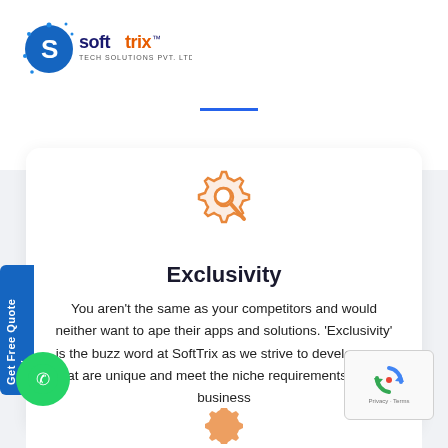[Figure (logo): Softtrix Tech Solutions Pvt. Ltd. logo — blue circular icon with letter S and dot-pattern, company name in dark blue/orange]
[Figure (illustration): Orange gear/cog with magnifying glass icon representing search or exclusivity]
Exclusivity
You aren't the same as your competitors and would neither want to ape their apps and solutions. 'Exclusivity' is the buzz word at SoftTrix as we strive to develop apps that are unique and meet the niche requirements of your business
[Figure (illustration): Partially visible orange gear icon at bottom of page]